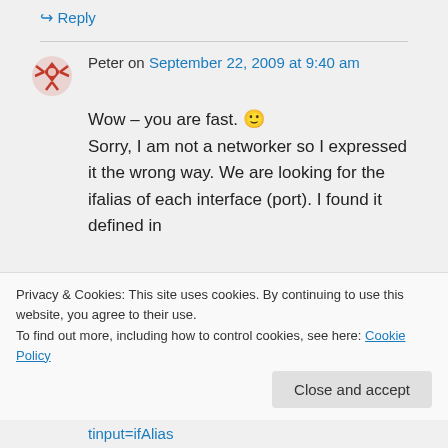↪ Reply
Peter on September 22, 2009 at 9:40 am
Wow – you are fast. 🙂 Sorry, I am not a networker so I expressed it the wrong way. We are looking for the ifalias of each interface (port). I found it defined in
Privacy & Cookies: This site uses cookies. By continuing to use this website, you agree to their use. To find out more, including how to control cookies, see here: Cookie Policy
Close and accept
tinput=ifAlias